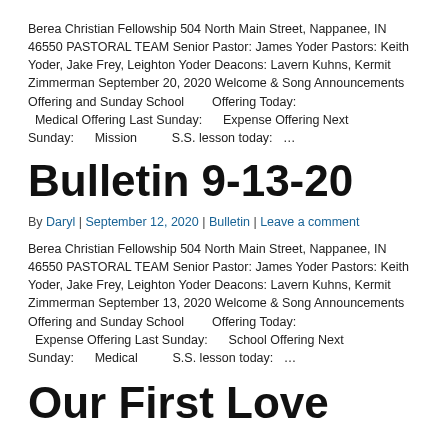Berea Christian Fellowship 504 North Main Street, Nappanee, IN  46550 PASTORAL TEAM Senior Pastor:  James Yoder Pastors:  Keith Yoder, Jake Frey, Leighton Yoder Deacons:  Lavern Kuhns, Kermit Zimmerman September 20, 2020 Welcome & Song Announcements Offering and Sunday School        Offering Today:    Medical Offering Last Sunday:       Expense Offering Next Sunday:       Mission          S.S. lesson today:   …
Bulletin 9-13-20
By Daryl | September 12, 2020 | Bulletin | Leave a comment
Berea Christian Fellowship 504 North Main Street, Nappanee, IN  46550 PASTORAL TEAM Senior Pastor:  James Yoder Pastors:  Keith Yoder, Jake Frey, Leighton Yoder Deacons:  Lavern Kuhns, Kermit Zimmerman September 13, 2020 Welcome & Song Announcements Offering and Sunday School        Offering Today:    Expense Offering Last Sunday:       School Offering Next Sunday:       Medical          S.S. lesson today:   …
Our First Love